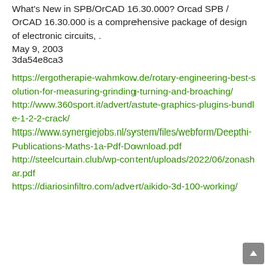What's New in SPB/OrCAD 16.30.000? Orcad SPB / OrCAD 16.30.000 is a comprehensive package of design of electronic circuits, .
May 9, 2003
3da54e8ca3
https://ergotherapie-wahmkow.de/rotary-engineering-best-solution-for-measuring-grinding-turning-and-broaching/
http://www.360sport.it/advert/astute-graphics-plugins-bundle-1-2-2-crack/
https://www.synergiejobs.nl/system/files/webform/Deepthi-Publications-Maths-1a-Pdf-Download.pdf
http://steelcurtain.club/wp-content/uploads/2022/06/zonashar.pdf
https://diariosinfiltro.com/advert/aikido-3d-100-working/